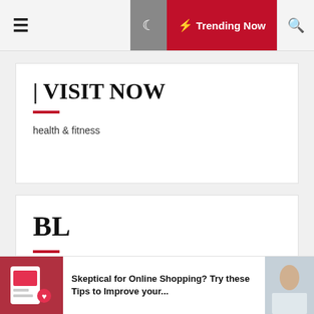☰ ☾ ⚡ Trending Now 🔍
| VISIT NOW
health & fitness
BL
Skeptical for Online Shopping? Try these Tips to Improve your...